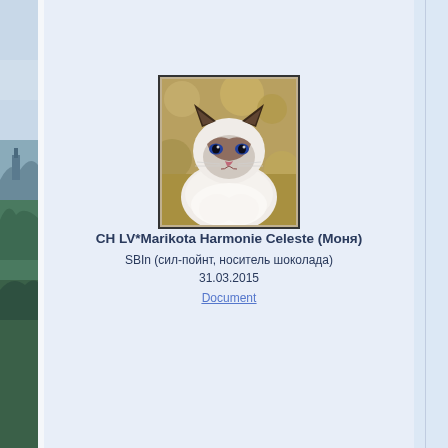[Figure (photo): Photograph of a Birman/Himalayan cat with light cream/white fur and dark brown (seal point) coloring on face and ears, sitting outdoors]
CH LV*Marikota Harmonie Celeste (Моня)
SBIn (сил-пойнт, носитель шоколада)
31.03.2015
Document